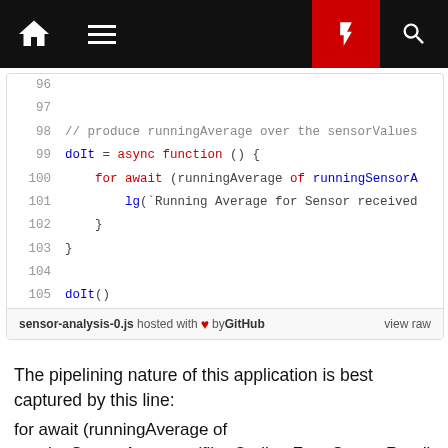[Figure (screenshot): Navigation bar with home icon, hamburger menu, red bolt icon, and search icon on dark background]
[Figure (screenshot): Code block showing JavaScript lines 96-105 with syntax highlighting. Line 98: comment about runningAverage over sensorValues, Line 99: doIt = async function () {, Line 100: for await (runningAverage of runningSensorA..., Line 101: lg('Running Average for Sensor received..., Line 102: }, Line 103: }, Line 104: blank, Line 105: doIt()]
sensor-analysis-0.js hosted with ❤ by GitHub  view raw
The pipelining nature of this application is best captured by this line:
for await (runningAverage of runningSensorAverages(filterOutliersFromSensorReadings(sensorValues()), 15, 10)) {..}